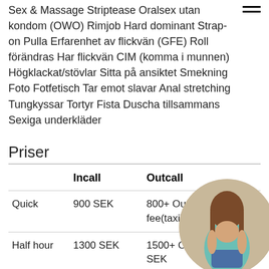Sex & Massage Striptease Oralsex utan kondom (OWO) Rimjob Hard dominant Strap-on Pulla Erfarenhet av flickvän (GFE) Roll förändras Har flickvän CIM (komma i munnen) Högklackat/stövlar Sitta på ansiktet Smekning Foto Fotfetisch Tar emot slavar Anal stretching Tungkyssar Tortyr Fista Duscha tillsammans Sexiga underkläder
Priser
|  | Incall | Outcall |
| --- | --- | --- |
| Quick | 900 SEK | 800+ Outcall travel fee(taxi) SEK |
| Half hour | 1300 SEK | 1500+ Outcall travel fee(taxi) SEK |
| 1 hour | 2000 | 2600 SEK |
[Figure (photo): Circular cropped photo of a woman in a teal top and denim shorts, seen from behind, in the bottom-right corner]